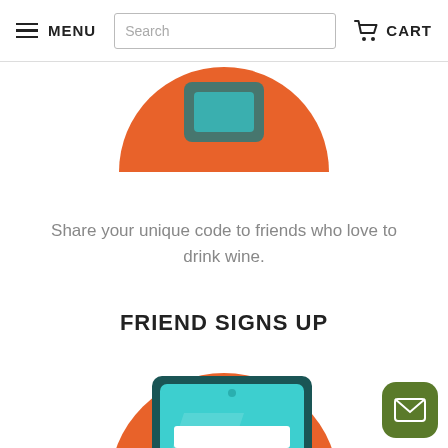MENU  Search  CART
[Figure (illustration): Partial orange circle with teal/dark figure holding device, cropped at top]
Share your unique code to friends who love to drink wine.
FRIEND SIGNS UP
[Figure (illustration): Illustration of a tablet device with sign-up form fields and an orange SIGN UP button, held by hands, on an orange circle background]
[Figure (other): Green rounded square button with envelope/email icon in bottom right corner]